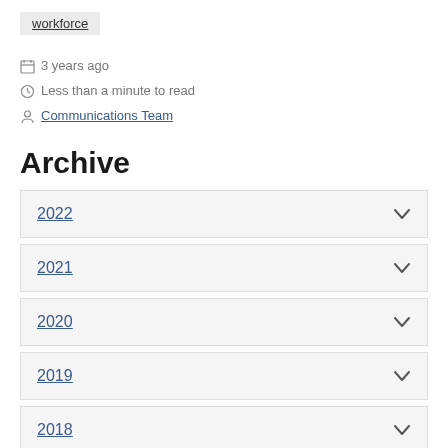workforce
📅 3 years ago
🕐 Less than a minute to read
👤 Communications Team
Archive
2022
2021
2020
2019
2018